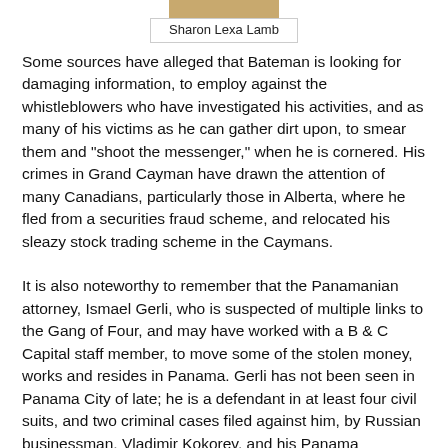[Figure (photo): Partial photo of Sharon Lexa Lamb at top of page]
Sharon Lexa Lamb
Some sources have alleged that Bateman is looking for damaging information, to employ against the whistleblowers who have investigated his activities, and as many of his victims as he can gather dirt upon, to smear them and "shoot the messenger," when he is cornered. His crimes in Grand Cayman have drawn the attention of many Canadians, particularly those in Alberta, where he fled from a securities fraud scheme, and relocated his sleazy stock trading scheme in the Caymans.
It is also noteworthy to remember that the Panamanian attorney, Ismael Gerli, who is suspected of multiple links to the Gang of Four, and may have worked with a B & C Capital staff member, to move some of the stolen money, works and resides in Panama. Gerli has not been seen in Panama City of late; he is a defendant in at least four civil suits, and two criminal cases filed against him, by Russian businessman, Vladimir Kokorev, and his Panama attorneys.
[Figure (photo): Partial photo at bottom of page]